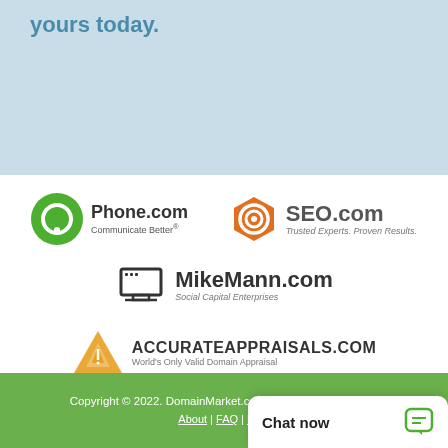yours today.
[Figure (logo): Phone.com logo with green circle icon and text 'Phone.com Communicate Better®']
[Figure (logo): SEO.com logo with orange hexagon target icon and text 'SEO.com Trusted Experts. Proven Results.']
[Figure (logo): MikeMann.com logo with monitor icon and text 'MikeMann.com Social Capital Enterprises']
[Figure (logo): AccurateAppraisals.com logo with orange triangle/A icon and text 'AccurateAppraisals.com World's Only Valid Domain Appraisal']
Copyright © 2022. DomainMarket.com | All Rights Reserved.
About | FAQ | Privacy | Legal | Security | Contact
Chat now